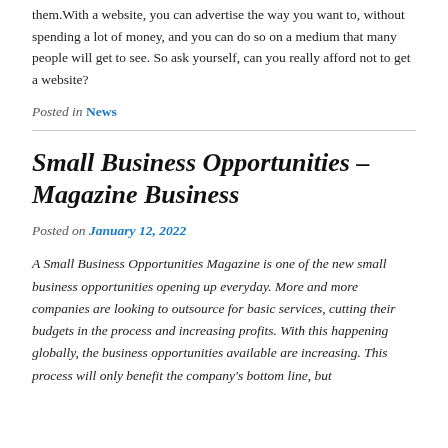them.With a website, you can advertise the way you want to, without spending a lot of money, and you can do so on a medium that many people will get to see. So ask yourself, can you really afford not to get a website?
Posted in News
Small Business Opportunities – Magazine Business
Posted on January 12, 2022
A Small Business Opportunities Magazine is one of the new small business opportunities opening up everyday. More and more companies are looking to outsource for basic services, cutting their budgets in the process and increasing profits. With this happening globally, the business opportunities available are increasing. This process will only benefit the company's bottom line, but